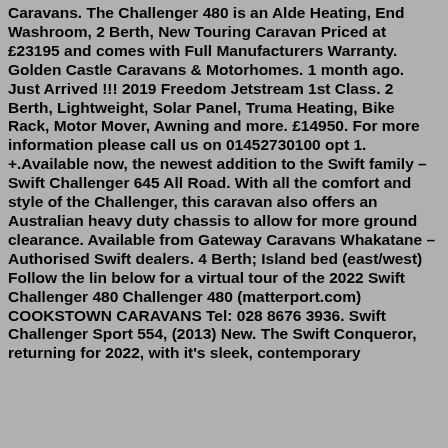Caravans. The Challenger 480 is an Alde Heating, End Washroom, 2 Berth, New Touring Caravan Priced at £23195 and comes with Full Manufacturers Warranty. Golden Castle Caravans & Motorhomes. 1 month ago. Just Arrived !!! 2019 Freedom Jetstream 1st Class. 2 Berth, Lightweight, Solar Panel, Truma Heating, Bike Rack, Motor Mover, Awning and more. £14950. For more information please call us on 01452730100 opt 1. +.Available now, the newest addition to the Swift family – Swift Challenger 645 All Road. With all the comfort and style of the Challenger, this caravan also offers an Australian heavy duty chassis to allow for more ground clearance. Available from Gateway Caravans Whakatane – Authorised Swift dealers. 4 Berth; Island bed (east/west) Follow the lin below for a virtual tour of the 2022 Swift Challenger 480 Challenger 480 (matterport.com) COOKSTOWN CARAVANS Tel: 028 8676 3936. Swift Challenger Sport 554, (2013) New. The Swift Conqueror, returning for 2022, with it's sleek, contemporary